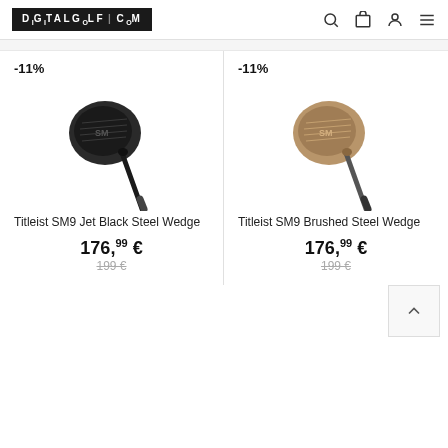DIGITALGOLF.COM
-11%
[Figure (photo): Titleist SM9 Jet Black Steel Wedge golf club, side profile, dark/black finish with grip]
Titleist SM9 Jet Black Steel Wedge
176,99 €
199 €
-11%
[Figure (photo): Titleist SM9 Brushed Steel Wedge golf club, side profile, brushed/bronze metallic finish with grip]
Titleist SM9 Brushed Steel Wedge
176,99 €
199 €